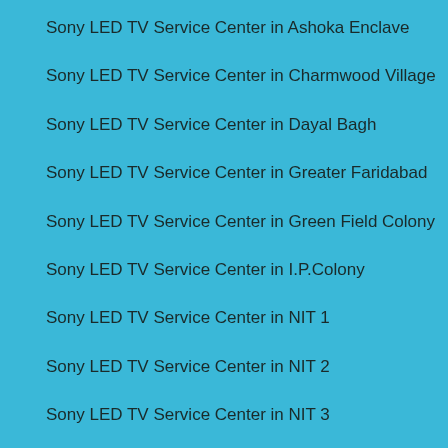Sony LED TV Service Center in Ashoka Enclave
Sony LED TV Service Center in Charmwood Village
Sony LED TV Service Center in Dayal Bagh
Sony LED TV Service Center in Greater Faridabad
Sony LED TV Service Center in Green Field Colony
Sony LED TV Service Center in I.P.Colony
Sony LED TV Service Center in NIT 1
Sony LED TV Service Center in NIT 2
Sony LED TV Service Center in NIT 3
Sony LED TV Service Center in NIT 4